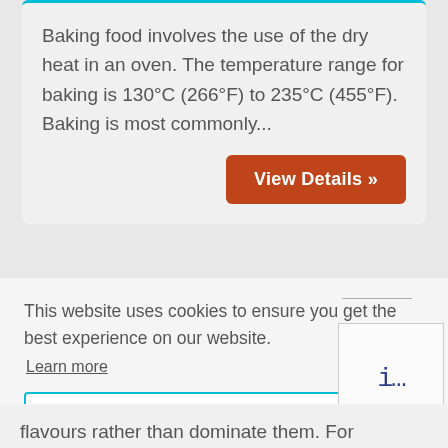Baking food involves the use of the dry heat in an oven. The temperature range for baking is 130°C (266°F) to 235°C (455°F). Baking is most commonly...
View Details »
This website uses cookies to ensure you get the best experience on our website.
Learn more
Got it!
es button
flavours rather than dominate them. For